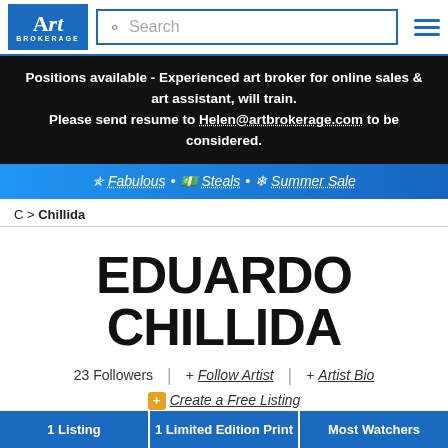Art Brokerage | Search
Positions available - Experienced art broker for online sales & art assistant, will train. Please send resume to Helen@artbrokerage.com to be considered.
🌟 Fabulous • 💵 Steals • 🌸 Summer Sale
C > Chillida
EDUARDO CHILLIDA
23 Followers   |   + Follow Artist   |   + Artist Bio
🟧 Create a Free Listing
1 Listing   1 Limited Edition Print   Most Watchers